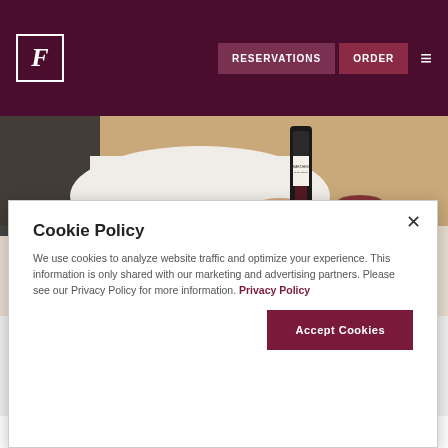F RESERVATIONS ORDER ≡
[Figure (photo): A waiter's hand holding a bottle of red wine next to a plated steak dish with tomatoes and greens, and a glass of red wine on a marble table]
Cookie Policy
We use cookies to analyze website traffic and optimize your experience. This information is only shared with our marketing and advertising partners. Please see our Privacy Policy for more information. Privacy Policy
Accept Cookies
Do Not Sell My Personal Information